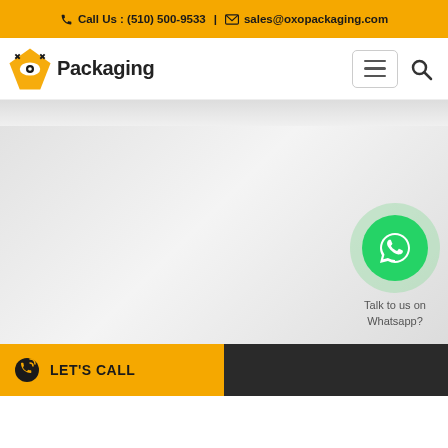Call Us : (510) 500-9533 | sales@oxopackaging.com
[Figure (logo): OXO Packaging logo with diamond/eye icon and text 'Packaging']
[Figure (screenshot): Large gray gradient hero/banner area of the OXO Packaging website]
[Figure (illustration): WhatsApp floating button with green circle icon and label 'Talk to us on Whatsapp?']
Talk to us on Whatsapp?
LET'S CALL